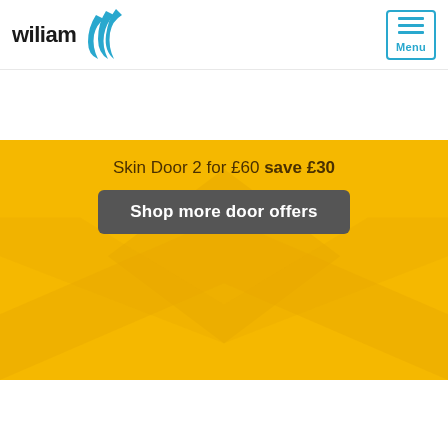[Figure (screenshot): Wiliam company logo with blue swoosh icon and 'wiliam' text in dark]
[Figure (screenshot): Menu button with blue border, three horizontal blue lines and 'Menu' label]
[Figure (screenshot): Yellow promotional banner with geometric diamond/X shapes. Text: 'Skin Door 2 for £60 save £30' with 'Shop more door offers' button]
[Figure (screenshot): Carousel navigation dots: 5 dots, first one light/inactive, four dark/active]
[Figure (screenshot): Orange promotional banner with chevron/arrow shapes and white paint cans at bottom]